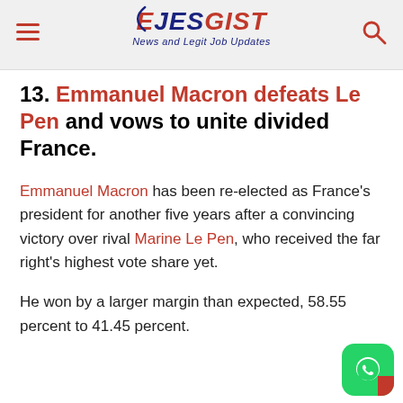EJESGIST — News and Legit Job Updates
13. Emmanuel Macron defeats Le Pen and vows to unite divided France.
Emmanuel Macron has been re-elected as France's president for another five years after a convincing victory over rival Marine Le Pen, who received the far right's highest vote share yet.
He won by a larger margin than expected, 58.55 percent to 41.45 percent.